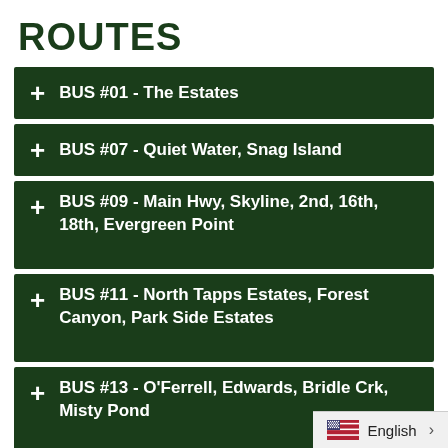ROUTES
+ BUS #01 - The Estates
+ BUS #07 - Quiet Water, Snag Island
+ BUS #09 - Main Hwy, Skyline, 2nd, 16th, 18th, Evergreen Point
+ BUS #11 - North Tapps Estates, Forest Canyon, Park Side Estates
+ BUS #13 - O'Ferrell, Edwards, Bridle Crk, Misty Pond
+ BUS #14 - Outback, 40th, Red Barn Area
+ BUS #17 - Lk. Tapps Pkwy @ Franklin & Charlotte, Portofino, Estat...